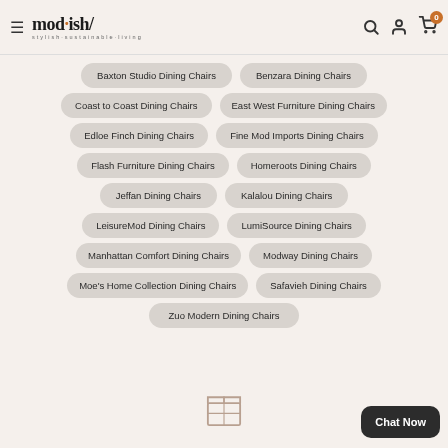mod.ish/ stylish·sustainable·living — navigation header with search, account, and cart icons
Baxton Studio Dining Chairs
Benzara Dining Chairs
Coast to Coast Dining Chairs
East West Furniture Dining Chairs
Edloe Finch Dining Chairs
Fine Mod Imports Dining Chairs
Flash Furniture Dining Chairs
Homeroots Dining Chairs
Jeffan Dining Chairs
Kalalou Dining Chairs
LeisureMod Dining Chairs
LumiSource Dining Chairs
Manhattan Comfort Dining Chairs
Modway Dining Chairs
Moe's Home Collection Dining Chairs
Safavieh Dining Chairs
Zuo Modern Dining Chairs
[Figure (illustration): Package/box icon at bottom center]
Chat Now